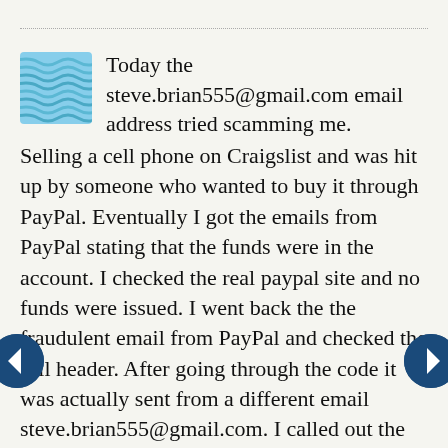[Figure (illustration): Avatar image with teal/blue wave pattern texture representing a user profile icon]
Today the steve.brian555@gmail.com email address tried scamming me. Selling a cell phone on Craigslist and was hit up by someone who wanted to buy it through PayPal. Eventually I got the emails from PayPal stating that the funds were in the account. I checked the real paypal site and no funds were issued. I went back the the fraudulent email from PayPal and checked the full header. After going through the code it was actually sent from a different email steve.brian555@gmail.com. I called out the person who was texting me about what I was selling and emailed the person who sent me the fake emails and now they don't say anything. Be care full out there...